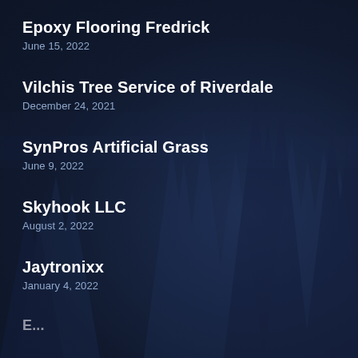Epoxy Flooring Fredrick
June 15, 2022
Vilchis Tree Service of Riverdale
December 24, 2021
SynPros Artificial Grass
June 9, 2022
Skyhook LLC
August 2, 2022
Jaytronixx
January 4, 2022
E...